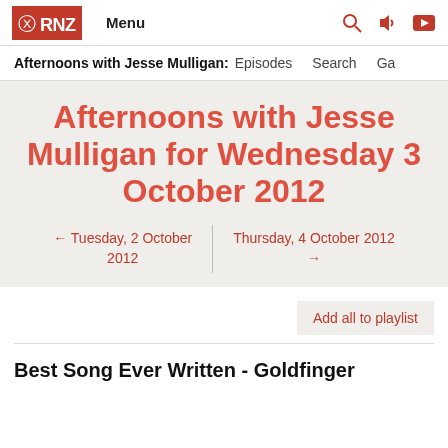RNZ Menu
Afternoons with Jesse Mulligan: Episodes Search Ga
Afternoons with Jesse Mulligan for Wednesday 3 October 2012
← Tuesday, 2 October 2012   Thursday, 4 October 2012 →
Add all to playlist
Best Song Ever Written - Goldfinger